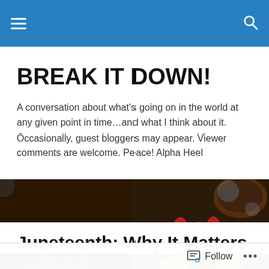BREAK IT DOWN! — navigation bar with hamburger menu and search icon
BREAK IT DOWN!
A conversation about what's going on in the world at any given point in time…and what I think about it. Occasionally, guest bloggers may appear. Viewer comments are welcome. Peace! Alpha Heel
[Figure (photo): Close-up photo of colorful decorative chess pieces on a chess board with yellow and brown squares]
Juneteenth: Why It Matters
Follow ...